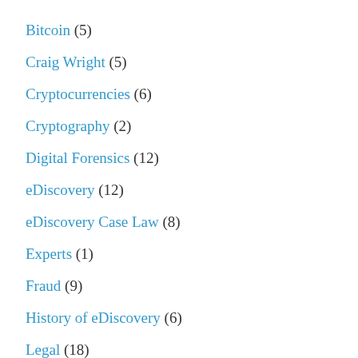Bitcoin (5)
Craig Wright (5)
Cryptocurrencies (6)
Cryptography (2)
Digital Forensics (12)
eDiscovery (12)
eDiscovery Case Law (8)
Experts (1)
Fraud (9)
History of eDiscovery (6)
Legal (18)
Long Read (3)
Mobile Devices (1)